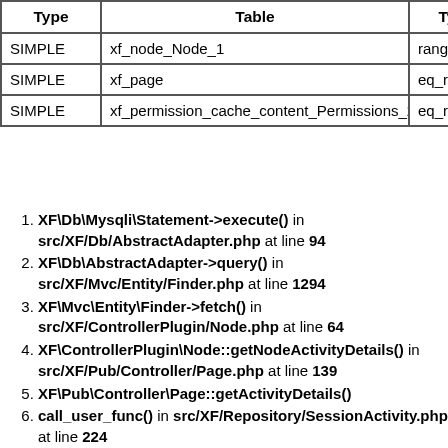| Type | Table | Type |
| --- | --- | --- |
| SIMPLE | xf_node_Node_1 | range |
| SIMPLE | xf_page | eq_re |
| SIMPLE | xf_permission_cache_content_Permissions_2 | eq_re |
XF\Db\Mysqli\Statement->execute() in src/XF/Db/AbstractAdapter.php at line 94
XF\Db\AbstractAdapter->query() in src/XF/Mvc/Entity/Finder.php at line 1294
XF\Mvc\Entity\Finder->fetch() in src/XF/ControllerPlugin/Node.php at line 64
XF\ControllerPlugin\Node::getNodeActivityDetails() in src/XF/Pub/Controller/Page.php at line 139
XF\Pub\Controller\Page::getActivityDetails()
call_user_func() in src/XF/Repository/SessionActivity.php at line 224
XF\Repository\SessionActivity->applyActivityDetails() in src/XF/Pub/Controller/Online.php at line 43
XF\Pub\Controller\Online->actionIndex() in src/XF/Mvc/Dispatcher.php at line 350
XF\Mvc\Dispatcher->dispatchClass() in src/XF/Mvc/Dispatcher.php at line 261